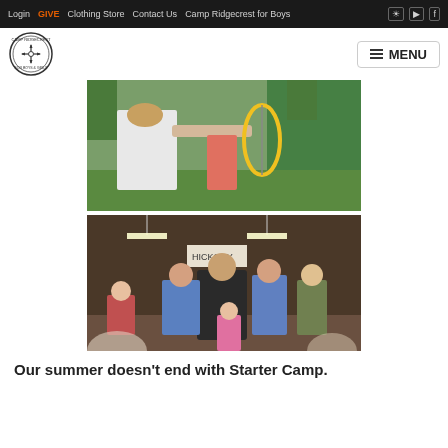Login  GIVE  Clothing Store  Contact Us  Camp Ridgecrest for Boys
[Figure (logo): Camp Ridgecrest circular logo with compass/arrow design]
[Figure (photo): Young woman shooting a compound bow at an archery range outdoors with green backstop netting and other campers in background]
[Figure (photo): Group of children and adults dancing or playing a group game inside a barn-like structure with a Hickory sign visible]
Our summer doesn't end with Starter Camp.